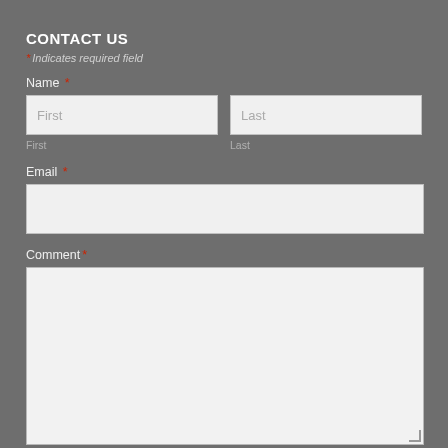CONTACT US
* Indicates required field
Name *
First
Last
First
Last
Email *
Comment *